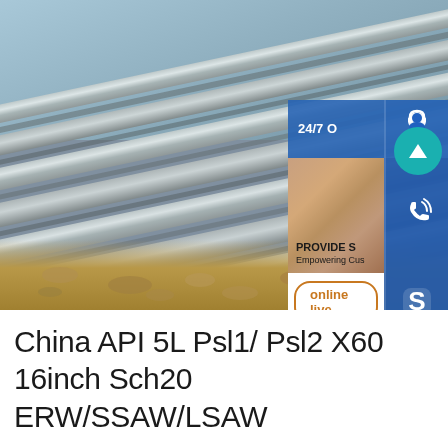[Figure (photo): Photo of stacked steel rails/pipes outdoors on gravel ground, with a customer service UI overlay on the right side showing 24/7 service panel with headset icon, phone icon, Skype icon, and an online live button, plus a teal scroll-up arrow button]
China API 5L Psl1/ Psl2 X60 16inch Sch20 ERW/SSAW/LSAW